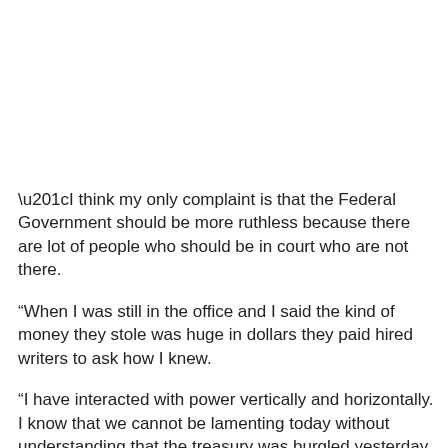“I think my only complaint is that the Federal Government should be more ruthless because there are lot of people who should be in court who are not there.
“When I was still in the office and I said the kind of money they stole was huge in dollars they paid hired writers to ask how I knew.
“I have interacted with power vertically and horizontally. I know that we cannot be lamenting today without understanding that the treasury was burgled yesterday.